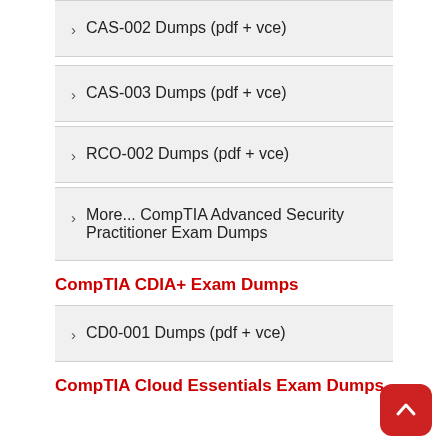CAS-002 Dumps (pdf + vce)
CAS-003 Dumps (pdf + vce)
RCO-002 Dumps (pdf + vce)
More... CompTIA Advanced Security Practitioner Exam Dumps
CompTIA CDIA+ Exam Dumps
CD0-001 Dumps (pdf + vce)
CompTIA Cloud Essentials Exam Dumps